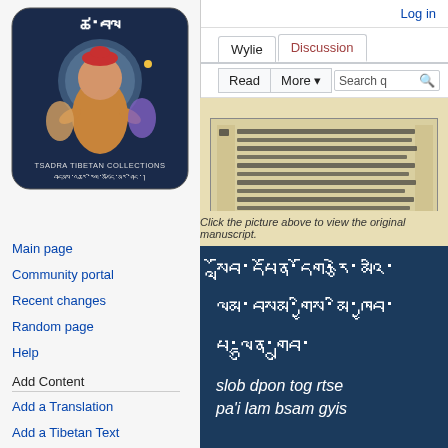Log in
[Figure (logo): Tsadra Tibetan Collections logo with Tibetan deity figure and script]
Wylie | Discussion
Read | More ▾ | Search
Main page
Community portal
Recent changes
Random page
Help
Add Content
Add a Translation
Add a Tibetan Text
Add a Person
Catalog
Search the DNZ
[Figure (photo): Tibetan manuscript page with handwritten Tibetan script text]
Click the picture above to view the original manuscript.
སློབ་དཔོན་དོག་རྩེ་མའི་
ལམ་བསམ་གྱིས་མི་ཁྱབ་
པ་ལྷུན་གྲུབ་
slob dpon tog rtse
pa'i lam bsam gyis